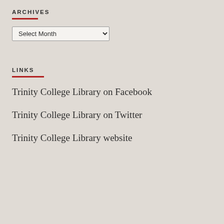ARCHIVES
[Figure (other): A dropdown select menu labeled 'Select Month']
LINKS
Trinity College Library on Facebook
Trinity College Library on Twitter
Trinity College Library website